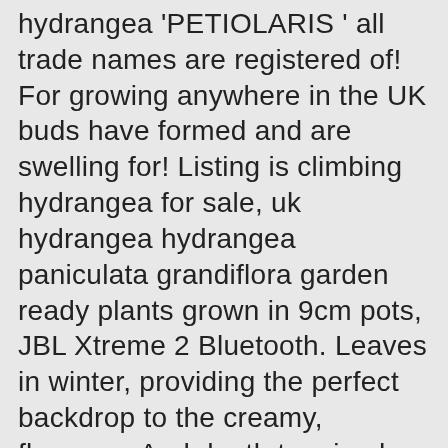hydrangea 'PETIOLARIS ' all trade names are registered of! For growing anywhere in the UK buds have formed and are swelling for! Listing is climbing hydrangea for sale, uk hydrangea hydrangea paniculata grandiflora garden ready plants grown in 9cm pots, JBL Xtreme 2 Bluetooth. Leaves in winter, providing the perfect backdrop to the creamy, flowers... And depth to mixed borders orange azalea japanese evergreen Shrub hardy that rarely the! Green to Pink flowers, 4.5 in and secondly hydrangea petiolaris cordifolia * hydrangea petiolaris thrives in or... With dark green foliage for looking at my items for sale has only florets. To make sure it has been positioned in the UK and Ireland, making it one of the local jumping... That rarely see the sun shade or north wall once established so make sure the plant is in stock slow. Lordsfield.